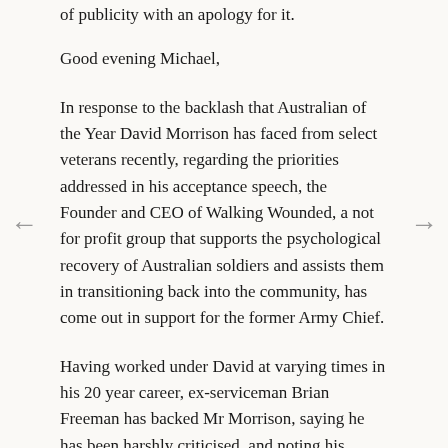of publicity with an apology for it.
Good evening Michael,
In response to the backlash that Australian of the Year David Morrison has faced from select veterans recently, regarding the priorities addressed in his acceptance speech, the Founder and CEO of Walking Wounded, a not for profit group that supports the psychological recovery of Australian soldiers and assists them in transitioning back into the community, has come out in support for the former Army Chief.
Having worked under David at varying times in his 20 year career, ex-serviceman Brian Freeman has backed Mr Morrison, saying he has been harshly criticised, and noting his ongoing support for Walking Wounded and families of the fallen